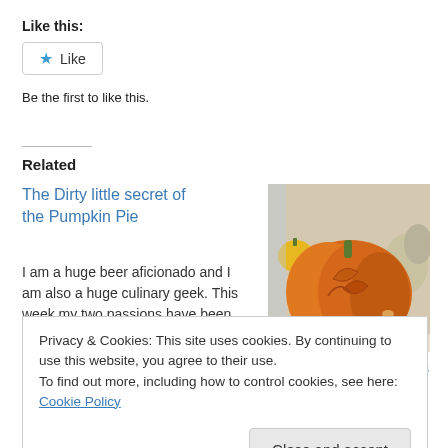Like this:
[Figure (other): Like button with star icon]
Be the first to like this.
Related
The Dirty little secret of the Pumpkin Pie
I am a huge beer aficionado and I am also a huge culinary geek. This week my two passions have been colliding in
[Figure (photo): Photo of carved orange pumpkin with leaf designs, with other gourds in background]
Craving Pumpkin Recipes
September 24, 2014
Privacy & Cookies: This site uses cookies. By continuing to use this website, you agree to their use.
To find out more, including how to control cookies, see here: Cookie Policy
Close and accept
cheesecake? Oh my I think